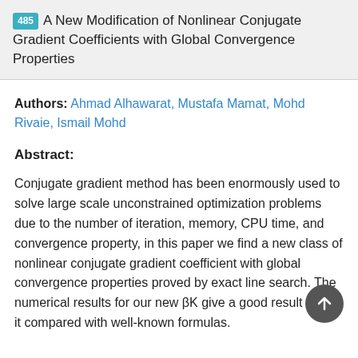485 A New Modification of Nonlinear Conjugate Gradient Coefficients with Global Convergence Properties
Authors: Ahmad Alhawarat, Mustafa Mamat, Mohd Rivaie, Ismail Mohd
Abstract:
Conjugate gradient method has been enormously used to solve large scale unconstrained optimization problems due to the number of iteration, memory, CPU time, and convergence property, in this paper we find a new class of nonlinear conjugate gradient coefficient with global convergence properties proved by exact line search. The numerical results for our new βK give a good result when it compared with well-known formulas.